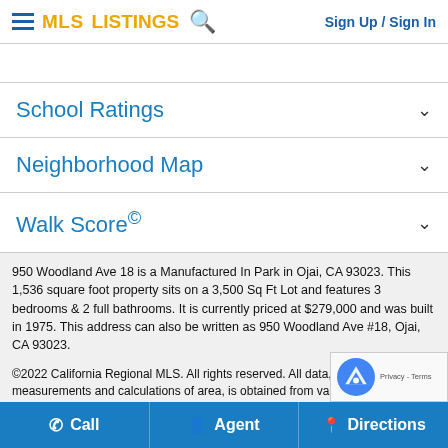MLS LISTINGS  Sign Up / Sign In
School Ratings
Neighborhood Map
Walk Score©
950 Woodland Ave 18 is a Manufactured In Park in Ojai, CA 93023. This 1,536 square foot property sits on a 3,500 Sq Ft Lot and features 3 bedrooms & 2 full bathrooms. It is currently priced at $279,000 and was built in 1975. This address can also be written as 950 Woodland Ave #18, Ojai, CA 93023.
©2022 California Regional MLS. All rights reserved. All data, including measurements and calculations of area, is obtained from various sou... has not been, and will not be, verified by broker or MLS. All informatio...
Call   Agent   Directions